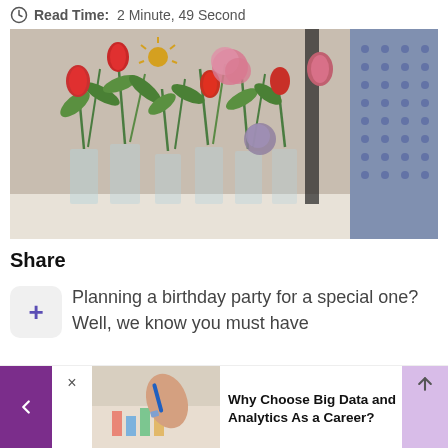Read Time: 2 Minute, 49 Second
[Figure (photo): Colorful flowers including red and pink tulips, yellow and green mixed flowers arranged in clear glass vases on a table]
Share
Planning a birthday party for a special one? Well, we know you must have
[Figure (photo): Thumbnail image showing a hand holding a pen over charts/graphs on paper]
Why Choose Big Data and Analytics As a Career?